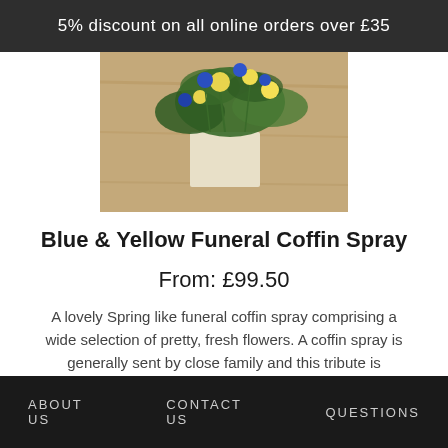5% discount on all online orders over £35
[Figure (photo): Photo of blue and yellow flowers arranged on a coffin spray, viewed from above on a wooden surface]
Blue & Yellow Funeral Coffin Spray
From: £99.50
A lovely Spring like funeral coffin spray comprising a wide selection of pretty, fresh flowers. A coffin spray is generally sent by close family and this tribute is available in a range of sizes and colours. FREE delivery and 5% discount when you order online.
ABOUT US   CONTACT US   QUESTIONS